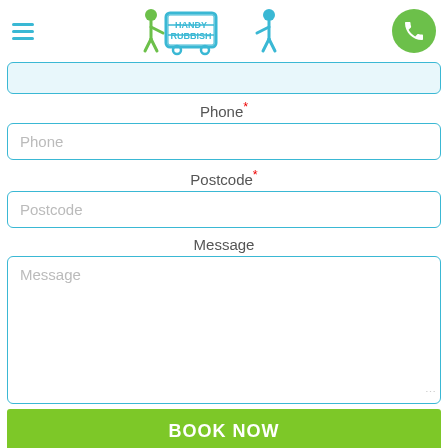[Figure (logo): Handy Rubbish logo with two figures pushing a cart, teal and green colors]
Phone*
Phone (placeholder input field)
Postcode*
Postcode (placeholder input field)
Message
Message (placeholder textarea)
BOOK NOW